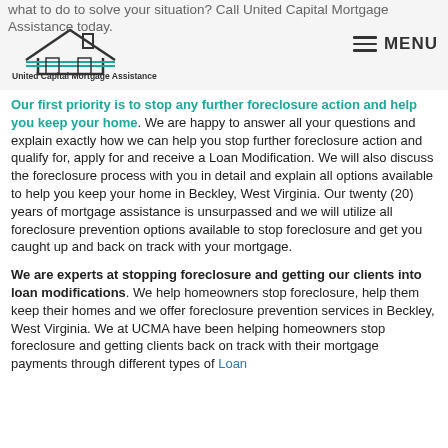what to do to solve your situation? Call United Capital Mortgage Assistance today.
[Figure (logo): United Capital Mortgage Assistance logo with house icon and tagline 'Your Foreclosure Prevention Experts']
Our first priority is to stop any further foreclosure action and help you keep your home. We are happy to answer all your questions and explain exactly how we can help you stop further foreclosure action and qualify for, apply for and receive a Loan Modification. We will also discuss the foreclosure process with you in detail and explain all options available to help you keep your home in Beckley, West Virginia. Our twenty (20) years of mortgage assistance is unsurpassed and we will utilize all foreclosure prevention options available to stop foreclosure and get you caught up and back on track with your mortgage.
We are experts at stopping foreclosure and getting our clients into loan modifications. We help homeowners stop foreclosure, help them keep their homes and we offer foreclosure prevention services in Beckley, West Virginia. We at UCMA have been helping homeowners stop foreclosure and getting clients back on track with their mortgage payments through different types of Loan